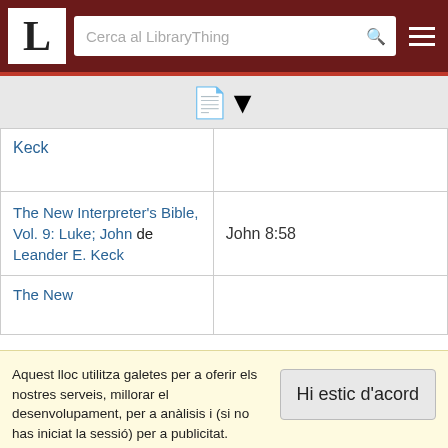LibraryThing - Cerca al LibraryThing
[Figure (logo): LibraryThing logo - letter L in serif font on white background, in dark red header bar with search box and hamburger menu]
| Keck |  |
| The New Interpreter's Bible, Vol. 9: Luke; John de Leander E. Keck | John 8:58 |
| The New |  |
Aquest lloc utilitza galetes per a oferir els nostres serveis, millorar el desenvolupament, per a anàlisis i (si no has iniciat la sessió) per a publicitat. Utilitzant LibraryThing acceptes que has llegit i entès els nostres Termes de servei i politica de privacitat. L'ús que facis del lloc i dels seus serveis està subjecte a aquestes politiques i termes.
Hi estic d'acord